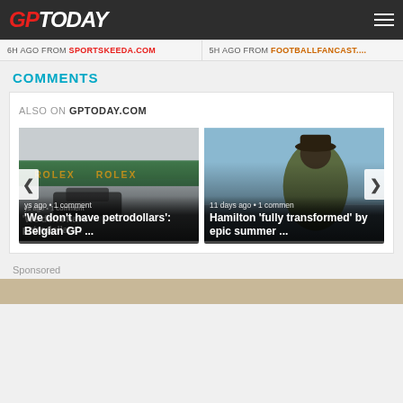GPTODAY
6H AGO FROM SPORTSKEEDA.COM
5H AGO FROM FOOTBALLFANCAST....
COMMENTS
ALSO ON GPTODAY.COM
[Figure (photo): Article card: racing car with Rolex branding in fog. Caption: 'We don't have petrodollars': Belgian GP ... — days ago • 1 comment]
[Figure (photo): Article card: person in hat with scenic background. Caption: Hamilton 'fully transformed' by epic summer ... — 11 days ago • 1 comment]
Sponsored